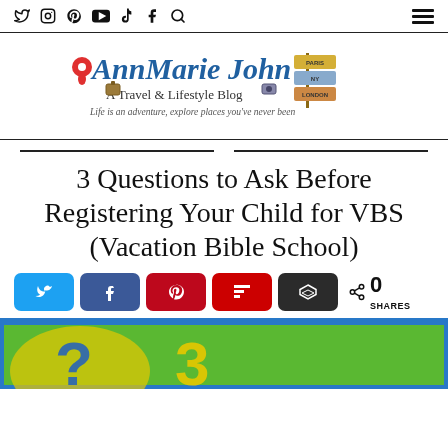Social icons: Twitter, Instagram, Pinterest, YouTube, TikTok, Facebook, Search | Hamburger menu
[Figure (logo): AnnMarie John – A Travel & Lifestyle Blog logo with tagline 'Life is an adventure, explore places you've never been']
3 Questions to Ask Before Registering Your Child for VBS (Vacation Bible School)
[Figure (infographic): Share buttons row: Twitter (blue), Facebook (blue), Pinterest (red), Flipboard (red), Buffer (dark), share icon with 0 SHARES count]
[Figure (photo): Colorful image with large question mark numbers on green/yellow background with blue border — related to VBS article]